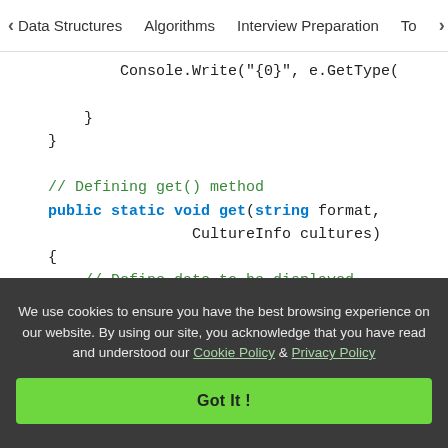< Data Structures   Algorithms   Interview Preparation   To>
[Figure (screenshot): C# code snippet showing a get() method definition with DateTime variable and string conversion. Code includes comments '// Defining get() method', '// Define date to be displayed.', '// converting DateTime to specified', and code lines with keywords public, static, void, get, string, new.]
We use cookies to ensure you have the best browsing experience on our website. By using our site, you acknowledge that you have read and understood our Cookie Policy & Privacy Policy
Got It !